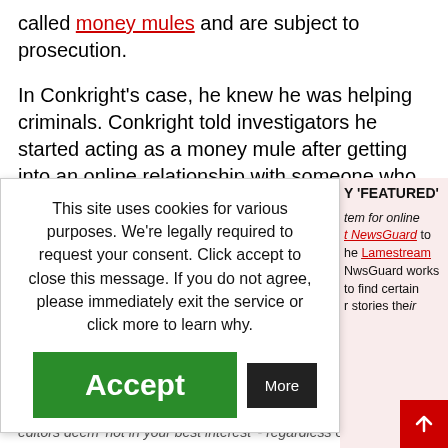called money mules and are subject to prosecution.
In Conkright’s case, he knew he was helping criminals. Conkright told investigators he started acting as a money mule after getting into an online relationship with someone who requested he move money on her behalf.
This site uses cookies for various purposes. We’re legally required to request your consent. Click accept to close this message. If you do not agree, please immediately exit the service or click more to learn why.
Y ‘FEATURED’
tem for online NewsGuard to ne Lamestream NwsGuard works to find certain r stories their editors deem ‘not in your best interest’ - regardless of